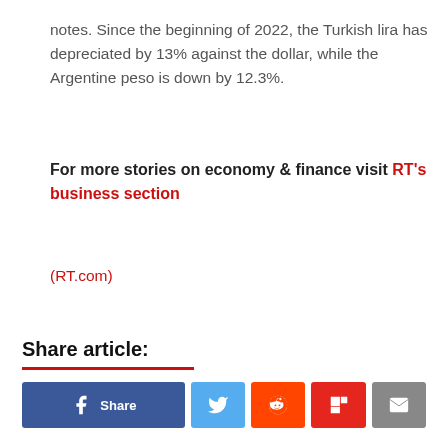notes. Since the beginning of 2022, the Turkish lira has depreciated by 13% against the dollar, while the Argentine peso is down by 12.3%.
For more stories on economy & finance visit RT's business section
(RT.com)
Share article:
[Figure (other): Social media share buttons: Facebook Share, Twitter, Reddit, Flipboard, Email]